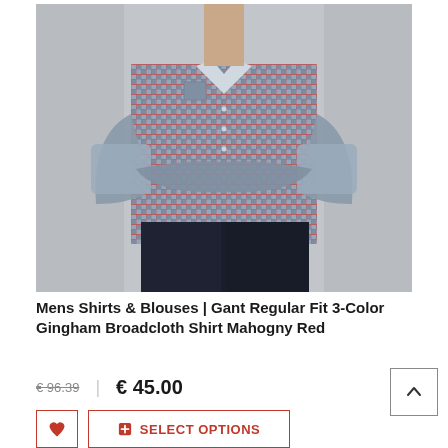[Figure (photo): Man wearing a blue/red/white 3-color gingham broadcloth shirt with arms crossed, dark jeans, gray background]
Mens Shirts & Blouses | Gant Regular Fit 3-Color Gingham Broadcloth Shirt Mahogny Red
€ 96.39  |  € 45.00